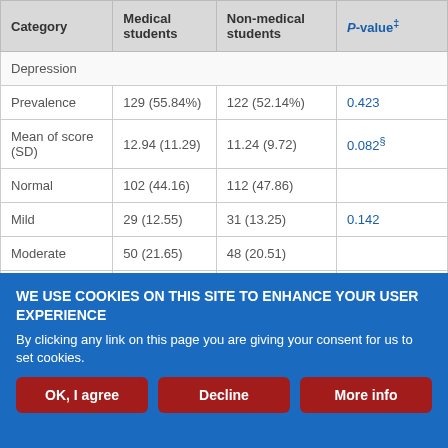| Category | Medical students | Non-medical students | P-value‡ |
| --- | --- | --- | --- |
| Depression |  |  |  |
| Prevalence | 129 (55.84%) | 122 (52.14%) | 0.423 |
| Mean of score (SD) | 12.94 (11.29) | 11.24 (9.72) | 0.082§ |
| Normal | 102 (44.16) | 112 (47.86) |  |
| Mild | 29 (12.55) | 31 (13.25) | 0.142 |
| Moderate | 50 (21.65) | 48 (20.51) |  |
| Severe | 20 (8.66) | 28 (11.97) |  |
| Extremely severe | 30 (12.99) | 15 (6.41) |  |
WE USE COOKIES ON THIS SITE TO ENHANCE YOUR USER EXPERIENCE
By clicking any link on this page you are giving your consent for us to set cookies.